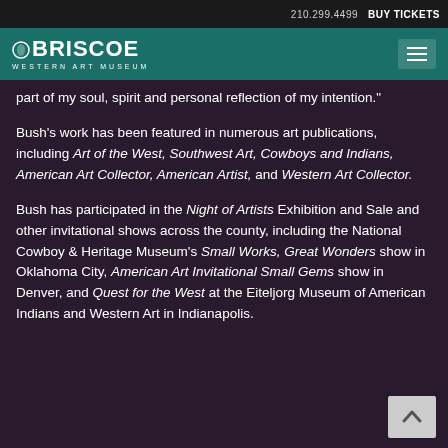210.299.4499  BUY TICKETS
[Figure (logo): Briscoe Western Art Museum logo in teal navigation bar with hamburger menu icon]
part of my soul, spirit and personal reflection of my intention."
Bush's work has been featured in numerous art publications, including Art of the West, Southwest Art, Cowboys and Indians, American Art Collector, American Artist, and Western Art Collector.
Bush has participated in the Night of Artists Exhibition and Sale and other invitational shows across the county, including the National Cowboy & Heritage Museum's Small Works, Great Wonders show in Oklahoma City, American Art Invitational Small Gems show in Denver, and Quest for the West at the Eiteljorg Museum of American Indians and Western Art in Indianapolis.